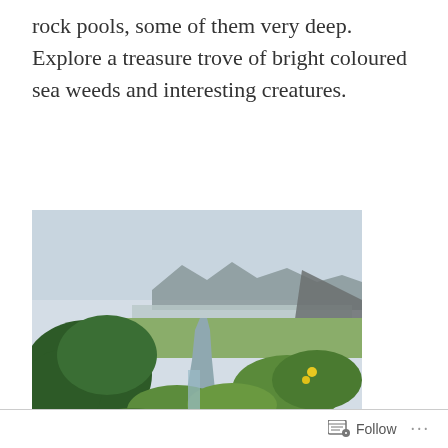rock pools, some of them very deep. Explore a treasure trove of bright coloured sea weeds and interesting creatures.
[Figure (photo): Outdoor coastal landscape photo showing a stream or creek running through green vegetation and wildflowers toward a beach and rocky headlands in the background, under a hazy sky. Large green shrubs on the left side. The location is Porth Mear.]
Porth Mear
Follow ...